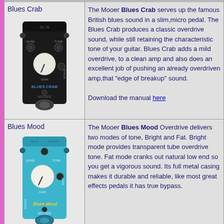Blues Crab
[Figure (photo): Mooer Blues Crab guitar effects pedal - black micro pedal with LEVEL, TONE, GAIN knobs and footswitch, labeled BLUES CRAB and MOOER]
The Mooer Blues Crab serves up the famous British blues sound in a slim, micro pedal. The Blues Crab produces a classic overdrive sound, while still retaining the characteristic tone of your guitar. Blues Crab adds a mild overdrive, to a clean amp and also does an excellent job of pushing an already overdriven amp, that "edge of breakup" sound. Download the manual here
Blues Mood
[Figure (photo): Mooer Blues Mood guitar effects pedal - blue micro pedal with LEVEL, TONE, GAIN knobs and footswitch, labeled Blues Mood and MOOER]
The Mooer Blues Mood Overdrive delivers two modes of tone, Bright and Fat. Bright mode provides transparent tube overdrive tone. Fat mode cranks out natural low end so you get a vigorous sound. Its full metal casing makes it durable and reliable, like most great effects pedals it has true bypass.